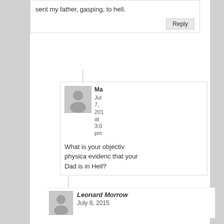sent my father, gasping, to hell.
Reply
Ma
July 7, 2015 at 3:0 pm
What is your objective physical evidence that your Dad is in Hell?
Leonard Morrow
July 8, 2015